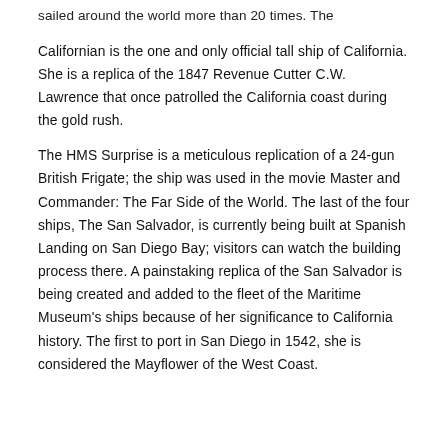sailed around the world more than 20 times. The
Californian is the one and only official tall ship of California. She is a replica of the 1847 Revenue Cutter C.W. Lawrence that once patrolled the California coast during the gold rush.
The HMS Surprise is a meticulous replication of a 24-gun British Frigate; the ship was used in the movie Master and Commander: The Far Side of the World. The last of the four ships, The San Salvador, is currently being built at Spanish Landing on San Diego Bay; visitors can watch the building process there. A painstaking replica of the San Salvador is being created and added to the fleet of the Maritime Museum's ships because of her significance to California history. The first to port in San Diego in 1542, she is considered the Mayflower of the West Coast.